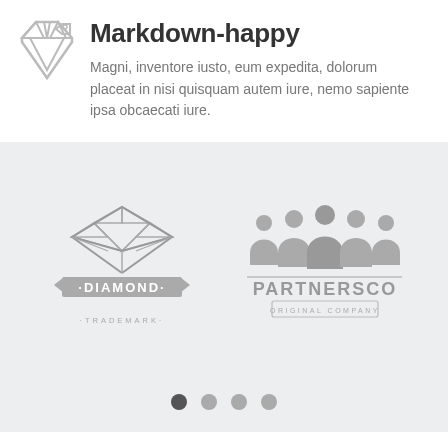Markdown-happy
Magni, inventore iusto, eum expedita, dolorum placeat in nisi quisquam autem iure, nemo sapiente ipsa obcaecati iure.
[Figure (logo): Diamond trademark logo in grey]
[Figure (logo): PartersCo original company logo in grey with people silhouettes]